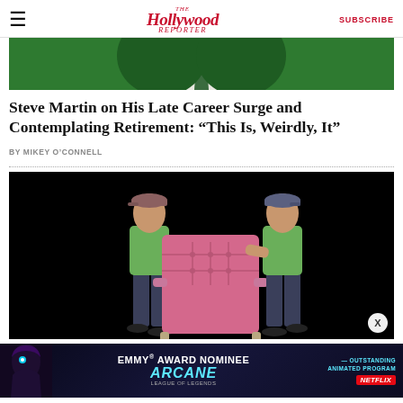The Hollywood Reporter | SUBSCRIBE
[Figure (photo): Top portion of a person in a green suit with a green tie, cropped at chest level against a green background]
Steve Martin on His Late Career Surge and Contemplating Retirement: “This Is, Weirdly, It”
BY MIKEY O’CONNELL
[Figure (photo): Two men carrying a pink tufted armchair against a black background, both wearing baseball caps and green shirts with jeans]
[Figure (photo): Advertisement banner for Arcane (League of Legends) Emmy Award Nominee for Outstanding Animated Program on Netflix]